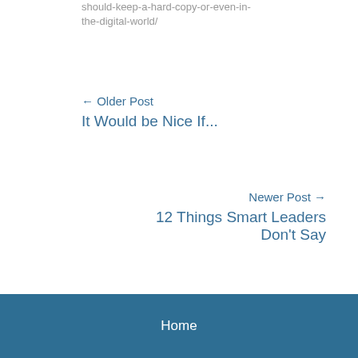should-keep-a-hard-copy-or-even-in-the-digital-world/
← Older Post
It Would be Nice If...
Newer Post →
12 Things Smart Leaders Don't Say
Home